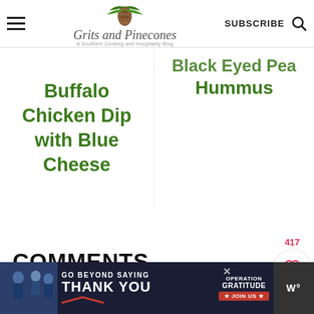Grits and Pinecones — A Southern Cooking and Hospitality Blog | SUBSCRIBE
Buffalo Chicken Dip with Blue Cheese
Black Eyed Pea Hummus
COMMENTS
[Figure (infographic): Ad banner: GO BEYOND SAYING THANK YOU — Operation Gratitude JOIN US, with photo of people in uniforms]